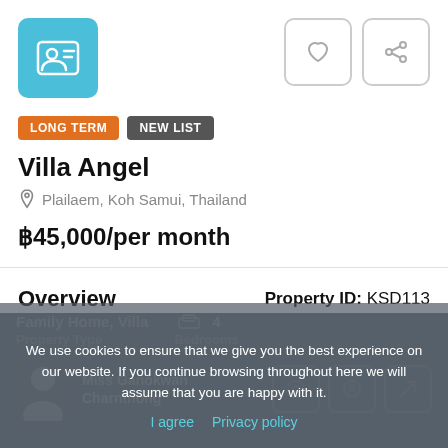[Figure (logo): Light blue square logo with a person/ID card icon]
LONG TERM
NEW LIST
Villa Angel
Plailaem, Koh Samui, Thailand
฿45,000/per month
Overview
Property ID: KSD113
Family Home, Villa
4
Property Type
Bedrooms
Miss Ganokwan Charnthong
We use cookies to ensure that we give you the best experience on our website. If you continue browsing throughout here we will assume that you are happy with it.
I agree
Privacy policy